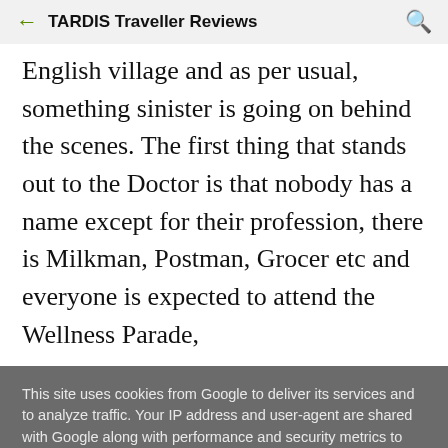TARDIS Traveller Reviews
English village and as per usual, something sinister is going on behind the scenes. The first thing that stands out to the Doctor is that nobody has a name except for their profession, there is Milkman, Postman, Grocer etc and everyone is expected to attend the Wellness Parade,
This site uses cookies from Google to deliver its services and to analyze traffic. Your IP address and user-agent are shared with Google along with performance and security metrics to ensure quality of service, generate usage statistics, and to detect and address abuse.
LEARN MORE   OK